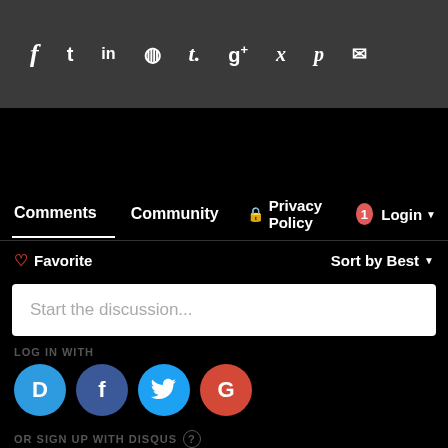[Figure (screenshot): Social share bar with icons: f (Facebook), t (Twitter), in (LinkedIn), Reddit alien, t. (Tumblr), g+ (Google+), P (Pinterest), envelope (Email) on dark gray background]
Comments   Community   Privacy Policy   1   Login
Favorite   Sort by Best
Start the discussion...
LOG IN WITH
[Figure (screenshot): Four social login circles: Disqus (blue D), Facebook (dark blue f), Twitter (light blue bird), Google (red G)]
OR SIGN UP WITH DISQUS ?
Name